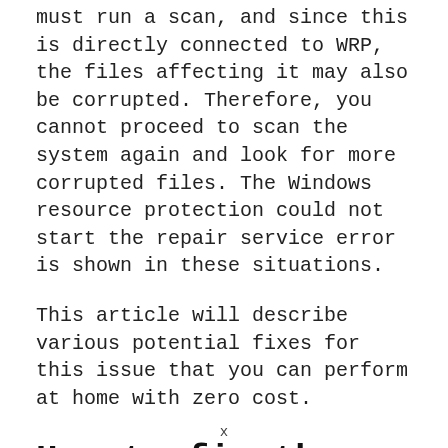must run a scan, and since this is directly connected to WRP, the files affecting it may also be corrupted. Therefore, you cannot proceed to scan the system again and look for more corrupted files. The Windows resource protection could not start the repair service error is shown in these situations.
This article will describe various potential fixes for this issue that you can perform at home with zero cost.
How to fix the "Windows resource...
x